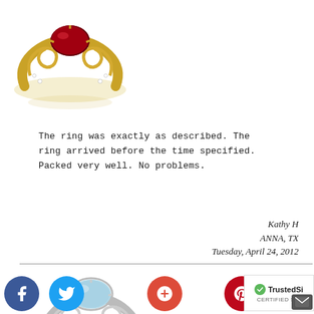[Figure (photo): Gold Celtic knot ring with dark red/garnet center stone, shown from above with reflection below]
The ring was exactly as described. The ring arrived before the time specified. Packed very well. No problems.
Kathy H
ANNA, TX
Tuesday, April 24, 2012
[Figure (photo): Silver/white gold Celtic knot ring with light blue aquamarine oval center stone, shown from above]